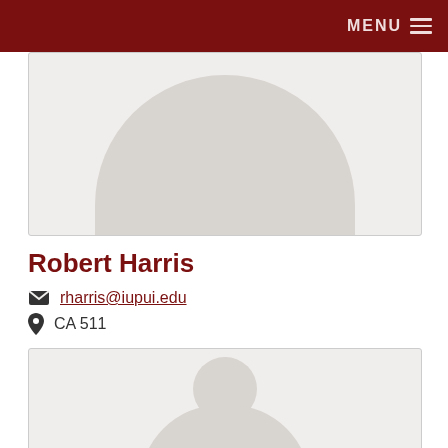MENU
[Figure (photo): Placeholder profile photo showing a generic silhouette with rounded top — top portion of a person profile card]
Robert Harris
rharris@iupui.edu
CA 511
[Figure (photo): Placeholder profile photo showing a generic person silhouette — bottom portion cut off, body and head visible]